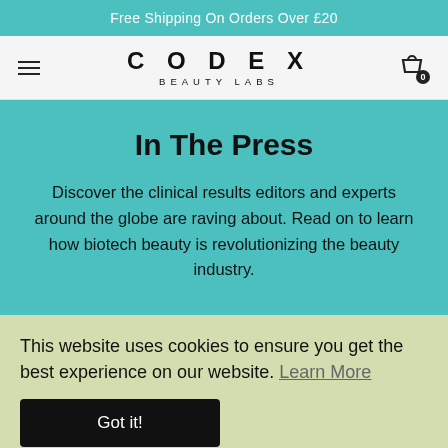Free Shipping On Orders Over £20
CODEX BEAUTY LABS
In The Press
Discover the clinical results editors and experts around the globe are raving about. Read on to learn how biotech beauty is revolutionizing the beauty industry.
This website uses cookies to ensure you get the best experience on our website. Learn More
Got it!